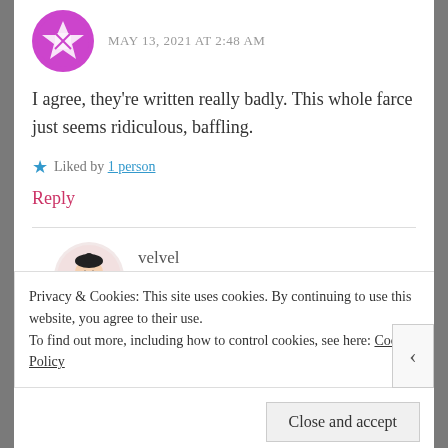MAY 13, 2021 AT 2:48 AM
I agree, they're written really badly. This whole farce just seems ridiculous, baffling.
★ Liked by 1 person
Reply
velvel
SEPTEMBER 22, 2021 AT 4:33 AM
Privacy & Cookies: This site uses cookies. By continuing to use this website, you agree to their use.
To find out more, including how to control cookies, see here: Cookie Policy
Close and accept